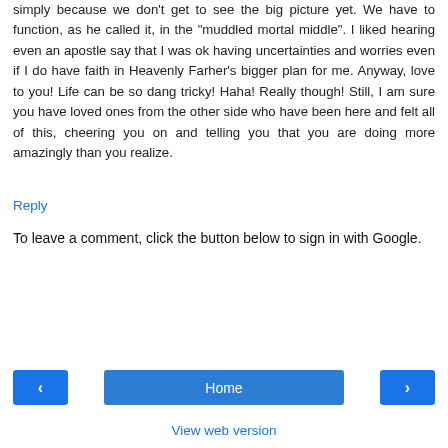simply because we don't get to see the big picture yet. We have to function, as he called it, in the "muddled mortal middle". I liked hearing even an apostle say that I was ok having uncertainties and worries even if I do have faith in Heavenly Farher's bigger plan for me. Anyway, love to you! Life can be so dang tricky! Haha! Really though! Still, I am sure you have loved ones from the other side who have been here and felt all of this, cheering you on and telling you that you are doing more amazingly than you realize.
Reply
To leave a comment, click the button below to sign in with Google.
[Figure (screenshot): Blue 'SIGN IN WITH GOOGLE' button]
[Figure (screenshot): Navigation row with left arrow button, Home button, and right arrow button]
View web version